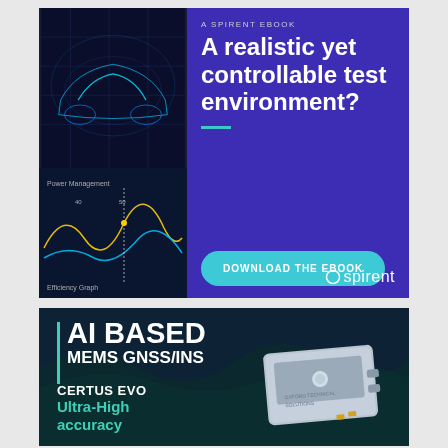[Figure (illustration): Spirent ebook advertisement. Left side: glowing blue wireframe car on dark background above a waveform/efficiency graph visualization. Right side: purple background with text 'A SPIRENT EBOOK', headline 'A realistic yet controllable test environment?', teal decorative line, teal 'DOWNLOAD THE EBOOK' button, Spirent logo bottom right.]
[Figure (illustration): Oxford Technical Solutions advertisement on dark navy background. Left teal vertical bar accent, bold white text 'AI BASED MEMS GNSS/INS'. Bottom left: 'CERTUS EVO' in white bold, 'Ultra-High accuracy' in teal. Right side: photo of a gray hardware device (GNSS/INS unit).]